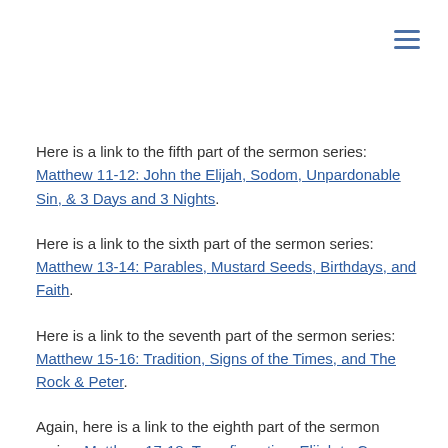Here is a link to the fifth part of the sermon series: Matthew 11-12: John the Elijah, Sodom, Unpardonable Sin, & 3 Days and 3 Nights.
Here is a link to the sixth part of the sermon series: Matthew 13-14: Parables, Mustard Seeds, Birthdays, and Faith.
Here is a link to the seventh part of the sermon series: Matthew 15-16: Tradition, Signs of the Times, and The Rock & Peter.
Again, here is a link to the eighth part of the sermon series: Matthew 17-18: Transfiguration, Elijah to Come, Taxes, and Forgiveness.
Some items of related interest may include: